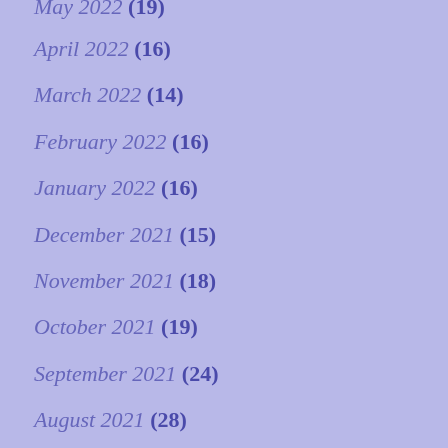May 2022 (19)
April 2022 (16)
March 2022 (14)
February 2022 (16)
January 2022 (16)
December 2021 (15)
November 2021 (18)
October 2021 (19)
September 2021 (24)
August 2021 (28)
July 2021 (27)